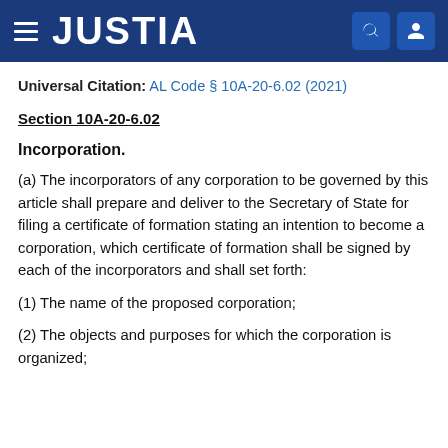JUSTIA
Universal Citation: AL Code § 10A-20-6.02 (2021)
Section 10A-20-6.02
Incorporation.
(a) The incorporators of any corporation to be governed by this article shall prepare and deliver to the Secretary of State for filing a certificate of formation stating an intention to become a corporation, which certificate of formation shall be signed by each of the incorporators and shall set forth:
(1) The name of the proposed corporation;
(2) The objects and purposes for which the corporation is organized;